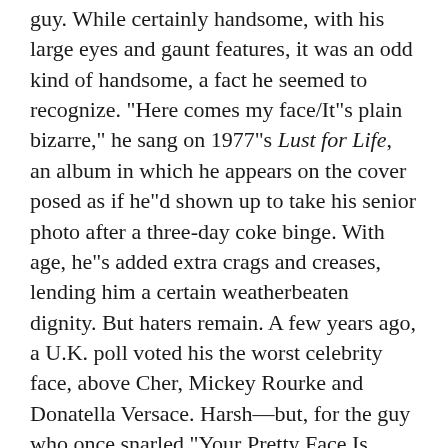guy. While certainly handsome, with his large eyes and gaunt features, it was an odd kind of handsome, a fact he seemed to recognize. "Here comes my face/It"s plain bizarre," he sang on 1977"s Lust for Life, an album in which he appears on the cover posed as if he"d shown up to take his senior photo after a three-day coke binge. With age, he"s added extra crags and creases, lending him a certain weatherbeaten dignity. But haters remain. A few years ago, a U.K. poll voted his the worst celebrity face, above Cher, Mickey Rourke and Donatella Versace. Harsh—but, for the guy who once snarled "Your Pretty Face Is Going to Hell," probably fair.
Although Iggy gradually shed his various stage stunts as he grew older and less out of his mind on drugs, he kept stage diving into his 60s—he invented the move, so why not?—until 2010, when he